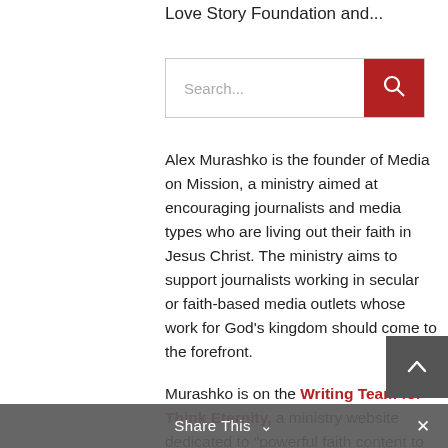Love Story Foundation and...
[Figure (screenshot): Search bar with text input field and red search button with magnifying glass icon]
Alex Murashko is the founder of Media on Mission, a ministry aimed at encouraging journalists and media types who are living out their faith in Jesus Christ. The ministry aims to support journalists working in secular or faith-based media outlets whose work for God's kingdom should come to the forefront.
Murashko is on the Writing Team for Think Eternity, a ministry website dedicated to "powerful faith content to help you live the fulfilled life in Jesus."
Share This  ∨  ✕
About Alex Murashko